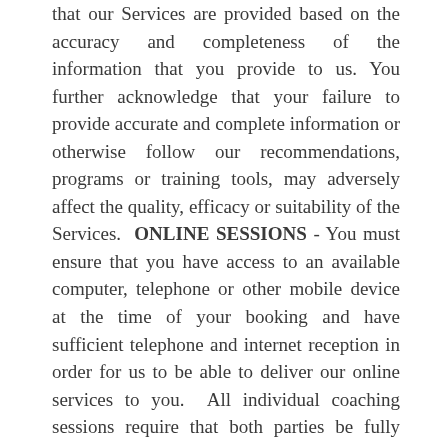that our Services are provided based on the accuracy and completeness of the information that you provide to us. You further acknowledge that your failure to provide accurate and complete information or otherwise follow our recommendations, programs or training tools, may adversely affect the quality, efficacy or suitability of the Services.  ONLINE SESSIONS - You must ensure that you have access to an available computer, telephone or other mobile device at the time of your booking and have sufficient telephone and internet reception in order for us to be able to deliver our online services to you.  All individual coaching sessions require that both parties be fully present and have access to a private, quiet space where you will not be interrupted. Sessions may not be conducted while driving or